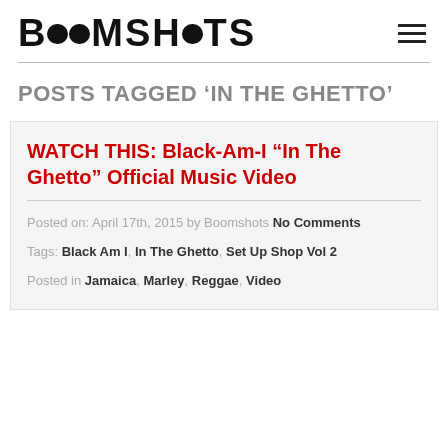BOOMSHOTS
POSTS TAGGED 'IN THE GHETTO'
WATCH THIS: Black-Am-I “In The Ghetto” Official Music Video
Posted on: April 17th, 2015 by Boomshots No Comments
Tags: Black Am I, In The Ghetto, Set Up Shop Vol 2
Posted in Jamaica, Marley, Reggae, Video